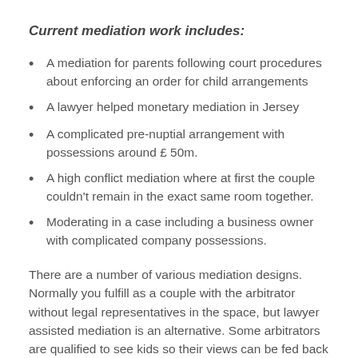Current mediation work includes:
A mediation for parents following court procedures about enforcing an order for child arrangements
A lawyer helped monetary mediation in Jersey
A complicated pre-nuptial arrangement with possessions around £ 50m.
A high conflict mediation where at first the couple couldn't remain in the exact same room together.
Moderating in a case including a business owner with complicated company possessions.
There are a number of various mediation designs. Normally you fulfill as a couple with the arbitrator without legal representatives in the space, but lawyer assisted mediation is an alternative. Some arbitrators are qualified to see kids so their views can be fed back into your